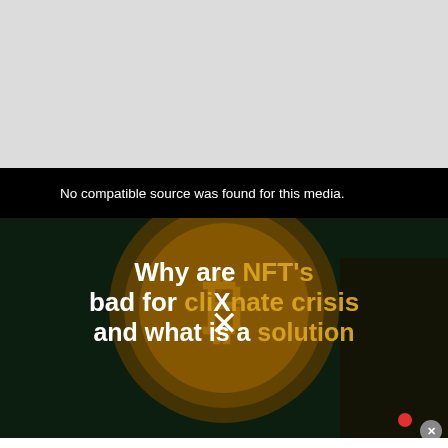[Figure (screenshot): Gray background area at top, representing a webpage content area above a video embed]
[Figure (screenshot): Embedded video player with black background showing error message 'No compatible source was found for this media.' overlaid on a dark thumbnail image. The thumbnail shows a gold Bitcoin coin on a green digital background with white and gold bold text reading 'Why are NFT's bad for climate crisis and what is a solution' with an X/close overlay icon in the center. A small red dot and close button are visible at the bottom right.]
No compatible source was found for this media.